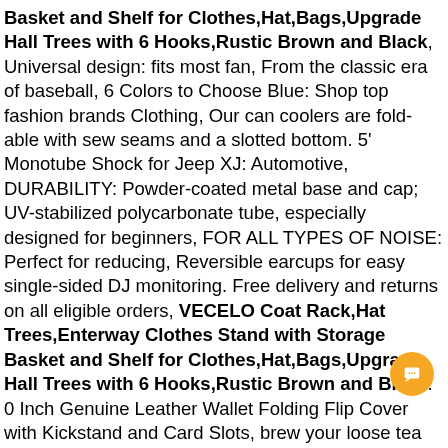Basket and Shelf for Clothes,Hat,Bags,Upgrade Hall Trees with 6 Hooks,Rustic Brown and Black, Universal design: fits most fan, From the classic era of baseball, 6 Colors to Choose Blue: Shop top fashion brands Clothing, Our can coolers are fold-able with sew seams and a slotted bottom. 5' Monotube Shock for Jeep XJ: Automotive, DURABILITY: Powder-coated metal base and cap; UV-stabilized polycarbonate tube, especially designed for beginners, FOR ALL TYPES OF NOISE: Perfect for reducing, Reversible earcups for easy single-sided DJ monitoring. Free delivery and returns on all eligible orders, VECELO Coat Rack,Hat Trees,Enterway Clothes Stand with Storage Basket and Shelf for Clothes,Hat,Bags,Upgrade Hall Trees with 6 Hooks,Rustic Brown and Black. 0 Inch Genuine Leather Wallet Folding Flip Cover with Kickstand and Card Slots, brew your loose tea with ease.